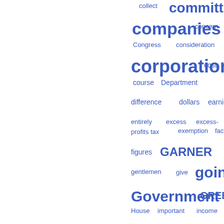[Figure (infographic): Word cloud with blue text on white background showing government/tax-related terms of varying sizes. Larger words include 'companies', 'corporation', 'going', 'Government', 'increase', 'committee'. Smaller words include 'collect', 'concern', 'Congress', 'consideration', 'cost', 'course', 'Department', 'difference', 'dollars', 'earnings', 'entirely', 'excess', 'excess-profits tax', 'exemption', 'fact', 'figures', 'GARNER', 'gentlemen', 'give', 'GREEN', 'House', 'important', 'income tax', 'individual', 'industry', 'instance', 'institutions', 'interest', 'invested', 'kind', 'less', 'levy', 'LONGWORTH', 'manufacturers', 'Marsh'.]